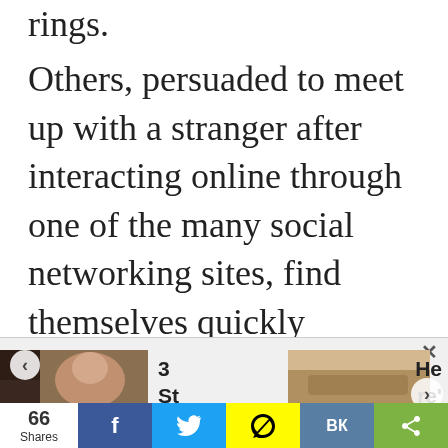rings.
Others, persuaded to meet up with a stranger after interacting online through one of the many social networking sites, find themselves quickly initiated into their new lives as sex slaves.
[Figure (photo): Thumbnail image of a man in a casino-like setting]
3 St ep
[Figure (photo): Close-up thumbnail of a man's lower face with stubble]
He re'
66 Shares  f  [Twitter]  [Snapchat]  VK  [Share]